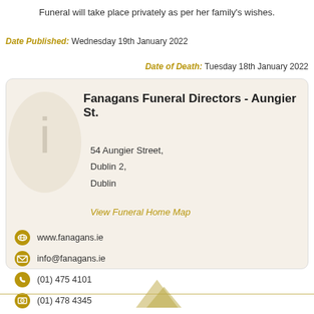Funeral will take place privately as per her family's wishes.
Date Published: Wednesday 19th January 2022
Date of Death: Tuesday 18th January 2022
Fanagans Funeral Directors - Aungier St.
54 Aungier Street,
Dublin 2,
Dublin
View Funeral Home Map
www.fanagans.ie
info@fanagans.ie
(01) 475 4101
(01) 478 4345